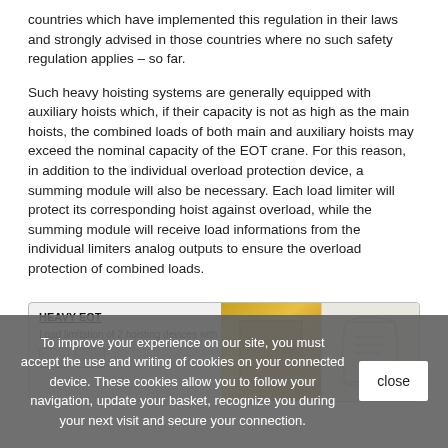countries which have implemented this regulation in their laws and strongly advised in those countries where no such safety regulation applies – so far.
Such heavy hoisting systems are generally equipped with auxiliary hoists which, if their capacity is not as high as the main hoists, the combined loads of both main and auxiliary hoists may exceed the nominal capacity of the EOT crane. For this reason, in addition to the individual overload protection device, a summing module will also be necessary. Each load limiter will protect its corresponding hoist against overload, while the summing module will receive load informations from the individual limiters analog outputs to ensure the overload protection of combined loads.
[Figure (infographic): Product card for HEAVY EOT - Load limitation of 2 hoisting devices with data recorder, showing product image with yellow industrial equipment and a rolled document/scroll illustration.]
To improve your experience on our site, you must accept the use and writing of cookies on your connected device. These cookies allow you to follow your navigation, update your basket, recognize you during your next visit and secure your connection.